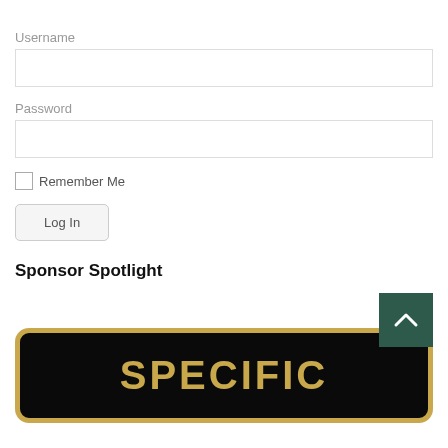Username
Password
Remember Me
Log In
Sponsor Spotlight
[Figure (logo): Sponsor badge with gold border on black background showing text 'SPECIFIC' in gold letters, with a dark green back-to-top arrow button overlay]